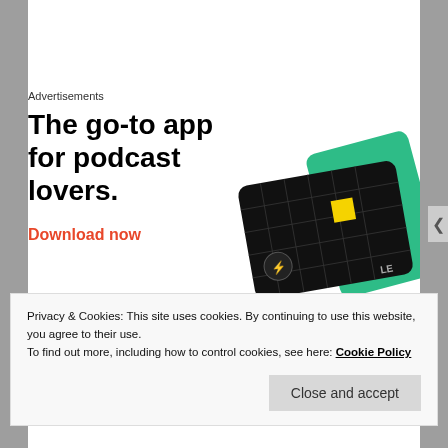Advertisements
[Figure (illustration): Advertisement banner: bold text 'The go-to app for podcast lovers.' with orange 'Download now' link, and graphic of two app cards (black grid card and green card) on the right side.]
Privacy & Cookies: This site uses cookies. By continuing to use this website, you agree to their use.
To find out more, including how to control cookies, see here: Cookie Policy
Close and accept